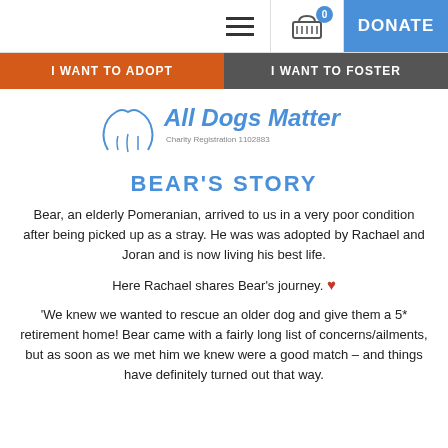Navigation bar with hamburger menu, basket (0), and DONATE button
I WANT TO ADOPT | I WANT TO FOSTER
[Figure (logo): All Dogs Matter logo with dog paw illustration and text 'All Dogs Matter Charity Registration 1102883']
BEAR'S STORY
Bear, an elderly Pomeranian, arrived to us in a very poor condition after being picked up as a stray. He was was adopted by Rachael and Joran and is now living his best life.
Here Rachael shares Bear's journey. ❤
'We knew we wanted to rescue an older dog and give them a 5* retirement home! Bear came with a fairly long list of concerns/ailments, but as soon as we met him we knew were a good match – and things have definitely turned out that way.